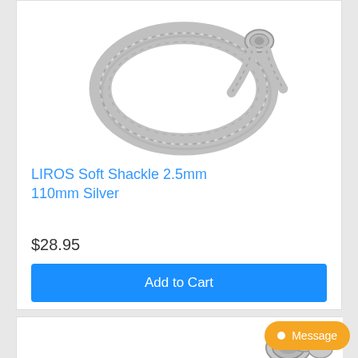[Figure (photo): Close-up photo of a silver braided rope soft shackle loop on white background]
LIROS Soft Shackle 2.5mm 110mm Silver
$28.95
Add to Cart
[Figure (photo): Partial photo of another silver soft shackle product at the bottom of the page]
Message